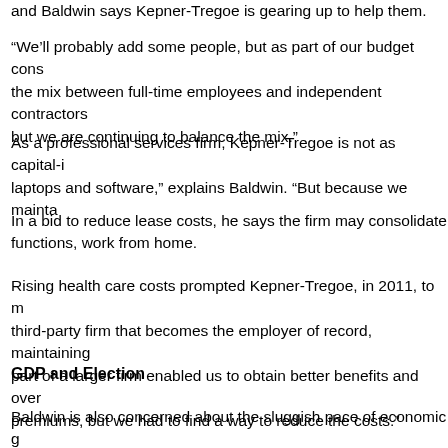and Baldwin says Kepner-Tregoe is gearing up to help them.
“We’ll probably add some people, but as part of our budget cons the mix between full-time employees and independent contractors but we are continuing to balance the mix.”
As a professional services firm, Kepner-Tregoe is not as capital-i laptops and software,” explains Baldwin. “But because we mainta
In a bid to reduce lease costs, he says the firm may consolidate functions, work from home.
Rising health care costs prompted Kepner-Tregoe, in 2011, to m third-party firm that becomes the employer of record, maintaining part of a larger firm enabled us to obtain better benefits and over premiums, but we had to find a way to reduce the costs.”
GDP and Election
Baldwin is also concerned about the sluggish pace of economic g an anemic rate of 1.1 percent in the second quarter of 2016, acc